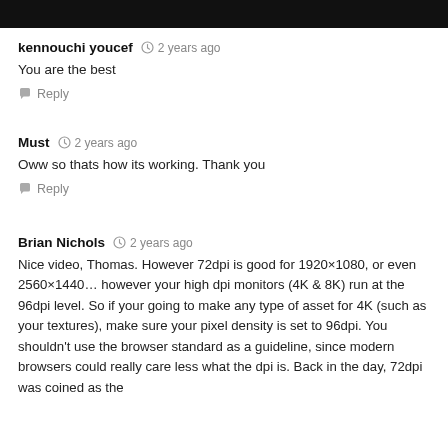[Figure (screenshot): Black top bar (partial screenshot of a video or UI)]
kennouchi youcef  2 years ago
You are the best
Reply
Must  2 years ago
Oww so thats how its working. Thank you
Reply
Brian Nichols  2 years ago
Nice video, Thomas. However 72dpi is good for 1920×1080, or even 2560×1440… however your high dpi monitors (4K & 8K) run at the 96dpi level. So if your going to make any type of asset for 4K (such as your textures), make sure your pixel density is set to 96dpi. You shouldn't use the browser standard as a guideline, since modern browsers could really care less what the dpi is. Back in the day, 72dpi was coined as the